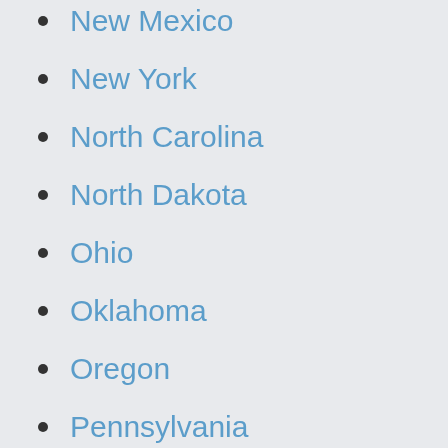New Mexico
New York
North Carolina
North Dakota
Ohio
Oklahoma
Oregon
Pennsylvania
Rhode Island
South Carolina